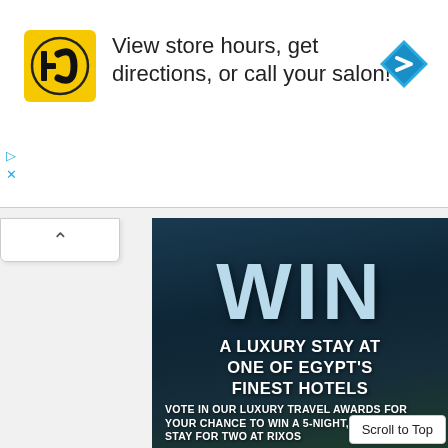[Figure (screenshot): Advertisement banner for Hair Club (HC) salon with yellow square logo, text 'View store hours, get directions, or call your salon!', a blue navigation arrow icon on the right, and small play/close controls on the left side.]
[Figure (photo): Promotional advertisement image with dark coastal/sky background showing large text 'WIN' in light blue, followed by 'A LUXURY STAY AT ONE OF EGYPT'S FINEST HOTELS' in white uppercase, and smaller text 'VOTE IN OUR LUXURY TRAVEL AWARDS FOR YOUR CHANCE TO WIN A 5-NIGHT, ALL-INCLUS... STAY FOR TWO AT RIXOS']
Scroll to Top